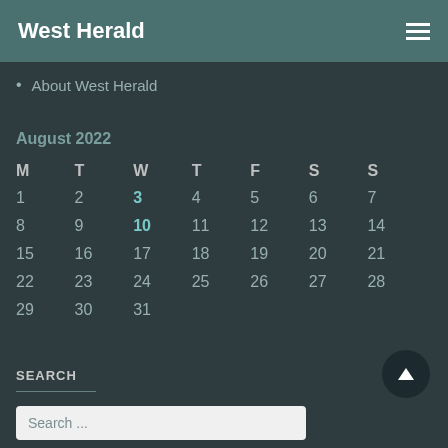West Herald
About West Herald
August 2022
| M | T | W | T | F | S | S |
| --- | --- | --- | --- | --- | --- | --- |
| 1 | 2 | 3 | 4 | 5 | 6 | 7 |
| 8 | 9 | 10 | 11 | 12 | 13 | 14 |
| 15 | 16 | 17 | 18 | 19 | 20 | 21 |
| 22 | 23 | 24 | 25 | 26 | 27 | 28 |
| 29 | 30 | 31 |  |  |  |  |
SEARCH
Search ...